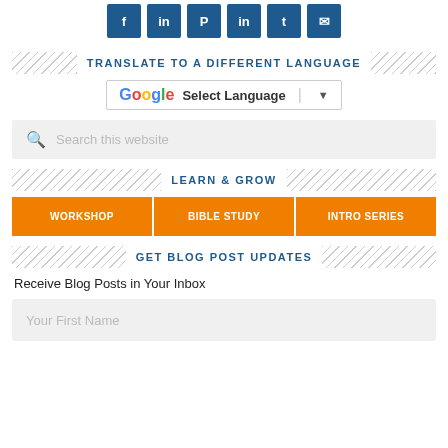[Figure (infographic): Row of 6 social media icon buttons in dark blue]
TRANSLATE TO A DIFFERENT LANGUAGE
[Figure (screenshot): Google Translate widget showing 'G Select Language' with dropdown arrow]
[Figure (screenshot): Search box with magnifier icon and placeholder text 'Search this website']
LEARN & GROW
[Figure (infographic): Three orange buttons: WORKSHOP | BIBLE STUDY | INTRO SERIES]
GET BLOG POST UPDATES
Receive Blog Posts in Your Inbox
[Figure (screenshot): Input field with placeholder 'Your First Name']